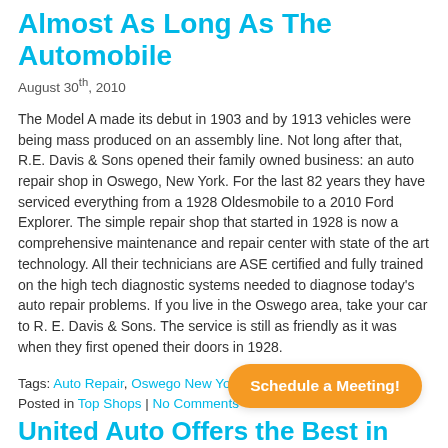Almost As Long As The Automobile
August 30th, 2010
The Model A made its debut in 1903 and by 1913 vehicles were being mass produced on an assembly line. Not long after that, R.E. Davis & Sons opened their family owned business: an auto repair shop in Oswego, New York. For the last 82 years they have serviced everything from a 1928 Oldesmobile to a 2010 Ford Explorer. The simple repair shop that started in 1928 is now a comprehensive maintenance and repair center with state of the art technology. All their technicians are ASE certified and fully trained on the high tech diagnostic systems needed to diagnose today's auto repair problems. If you live in the Oswego area, take your car to R. E. Davis & Sons. The service is still as friendly as it was when they first opened their doors in 1928.
Tags: Auto Repair, Oswego New York, R.E. Davis & Sons
Posted in Top Shops | No Comments
United Auto Offers the Best in Parts & Service
August 30th, 2010
United Auto opened in 1984 and has been providing quality parts and service to customers in Trevose, Pennsylvania. From basic maintenance to extensive engine repairs and everything in between, United Auto can do it all! They even offer services like trailer hitch installation, on-site welding and 24-hour towing. For all your
[Figure (other): Orange rounded-rectangle button with text 'Schedule a Meeting!']